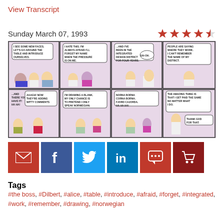View Transcript
Sunday March 07, 1993
[Figure (illustration): Dilbert comic strip from Sunday March 07, 1993 showing 8 panels. Characters include the boss, Dilbert, and Alice around a table for introductions, with the boss forgetting which district he works in and pretending to speak Norwegian, ending with a comment about getting paid the same no matter what.]
[Figure (other): Social sharing buttons: email (red), Facebook (blue), Twitter (light blue), LinkedIn (dark blue), comment (red), cart (dark red)]
Tags
#the boss, #Dilbert, #alice, #table, #introduce, #afraid, #forget, #integrated, #work, #remember, #drawing, #norwegian